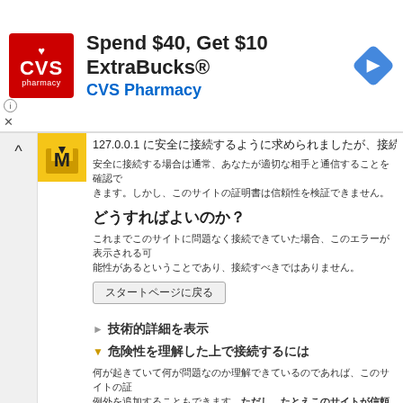[Figure (screenshot): CVS Pharmacy advertisement banner: 'Spend $40, Get $10 ExtraBucks® CVS Pharmacy' with CVS red logo and navigation arrow icon]
[Figure (screenshot): Firefox browser security warning page in Japanese about connecting to 127.0.0.1, with sections: どうすればよいのか？, 技術的詳細を表示, 危険性を理解した上で接続するには, and buttons スタートページに戻る and 例外を追加...]
127.0.0.1 に安全に接続するように求められましたが、接続の安全性が確
安全に接続する場合は通常、あなたが適切な相手と通信することを確認できます。しかし、このサイトの証明書は信頼性を検証できません。
どうすればよいのか？
これまでこのサイトに問題なく接続できていた場合、このエラーが表示される可能性があるということであり、接続すべきではありません。
スタートページに戻る
技術的詳細を表示
危険性を理解した上で接続するには
何が起きていて何が問題なのか理解できているのであれば、このサイトの証例外を追加することもできます。ただし、たとえこのサイトが信頼できるサているからこのエラーが表示されている可能性があるので十分に注意
信頼できる証明書をこのサイトが使用しない正当な理由がない限り、例外
例外を追加...